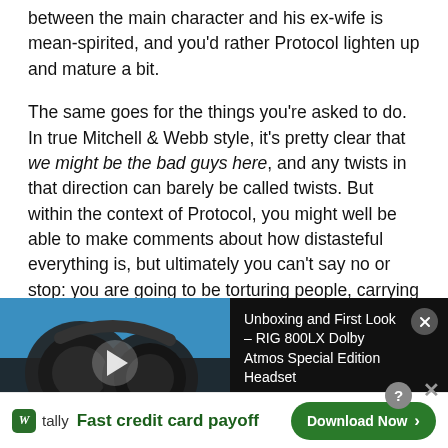between the main character and his ex-wife is mean-spirited, and you'd rather Protocol lighten up and mature a bit.

The same goes for the things you're asked to do. In true Mitchell & Webb style, it's pretty clear that we might be the bad guys here, and any twists in that direction can barely be called twists. But within the context of Protocol, you might well be able to make comments about how distasteful everything is, but ultimately you can't say no or stop: you are going to be torturing people, carrying their wobbling bodies around and generally participating in murder. When coupled with the mean-spiritedness of the dialogue, you end up feeling like you
[Figure (screenshot): Video player overlay showing RIG 800LX Dolby Atmos Special Edition Headset product video thumbnail with play button]
Unboxing and First Look – RIG 800LX Dolby Atmos Special Edition Headset
[Figure (screenshot): Tally advertisement banner: 'Fast credit card payoff' with Download Now button]